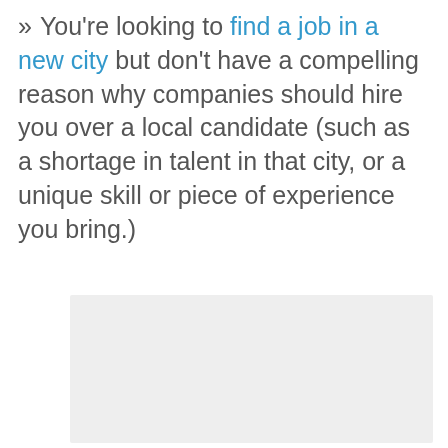» You're looking to find a job in a new city but don't have a compelling reason why companies should hire you over a local candidate (such as a shortage in talent in that city, or a unique skill or piece of experience you bring.)
[Figure (other): Light grey rectangular box placeholder image]